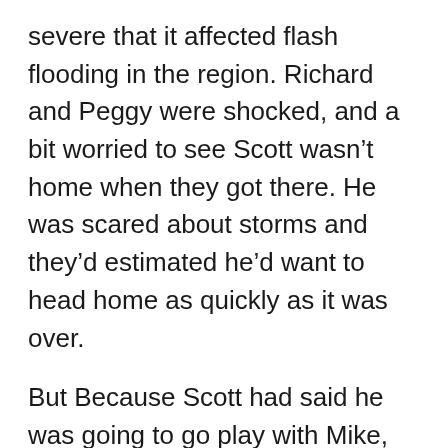severe that it affected flash flooding in the region. Richard and Peggy were shocked, and a bit worried to see Scott wasn't home when they got there. He was scared about storms and they'd estimated he'd want to head home as quickly as it was over.
But Because Scott had said he was going to go play with Mike, his family at the house weren't too anxious as they inferred the boys were inside. So they sent Ritchie out to check with Scott's friends and the neighbourhood children, and to check the regions they loved to hang out at. But when he didn't discover any clue